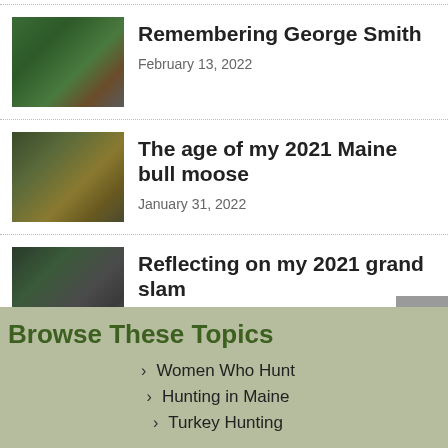[Figure (photo): Thumbnail photo of two people outdoors with green foliage]
Remembering George Smith
February 13, 2022
[Figure (photo): Thumbnail photo of person with moose outdoors]
The age of my 2021 Maine bull moose
January 31, 2022
[Figure (photo): Thumbnail photo of people standing outdoors near trees]
Reflecting on my 2021 grand slam
January 24, 2022
Browse These Topics
Women Who Hunt
Hunting in Maine
Turkey Hunting